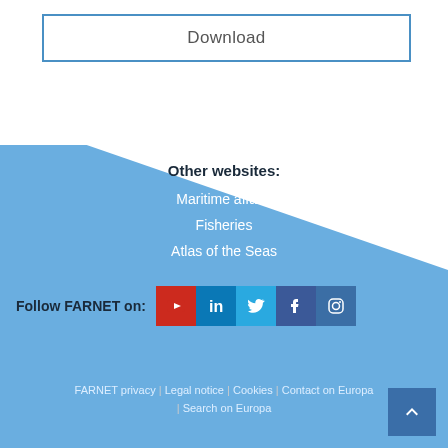Download
Other websites:
Maritime affairs
Fisheries
Atlas of the Seas
Follow FARNET on:
FARNET privacy | Legal notice | Cookies | Contact on Europa | Search on Europa